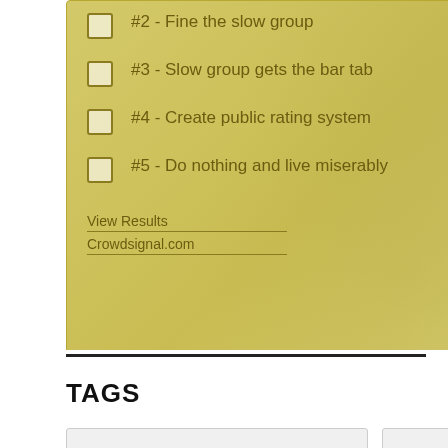[Figure (screenshot): Poll widget with yellow-gold background showing checkboxes for voting options, 'View Results' and 'Crowdsignal.com' links, and a gold circular 'vote' button. Decorative gear graphics in upper right.]
#2 - Fine the slow group
#3 - Slow group gets the bar tab
#4 - Create public rating system
#5 - Do nothing and live miserably
TAGS